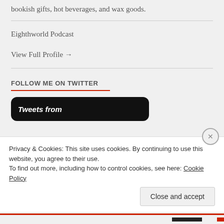bookish gifts, hot beverages, and wax goods.
Eighthworld Podcast
View Full Profile →
FOLLOW ME ON TWITTER
[Figure (screenshot): Black rounded rectangle showing 'Tweets from' text in white italic, representing an embedded Twitter widget]
Privacy & Cookies: This site uses cookies. By continuing to use this website, you agree to their use.
To find out more, including how to control cookies, see here: Cookie Policy
Close and accept